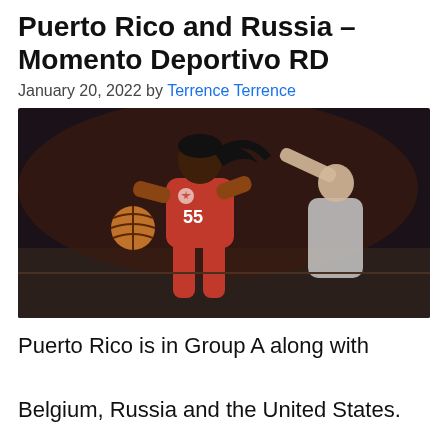Puerto Rico and Russia – Momento Deportivo RD
January 20, 2022 by Terrence Terrence
[Figure (photo): A Puerto Rico women's basketball player wearing jersey number 55 dribbling the ball, with a defender from another team in the background. The player is in a red Puerto Rico uniform.]
Puerto Rico is in Group A along with Belgium, Russia and the United States.